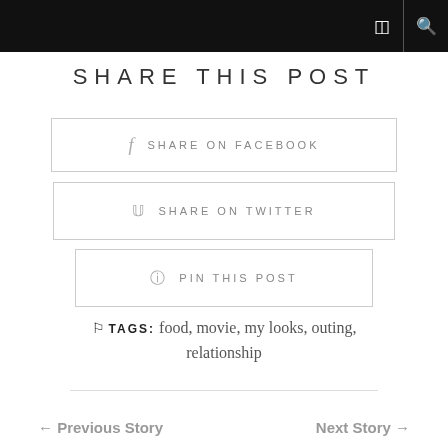SHARE THIS POST
f  SHARE ON FACEBOOK
🐦  SHARE ON TWITTER
®  PIN THIS POST
TAGS: food, movie, my looks, outing, relationship
← Previous Story    Next Story →